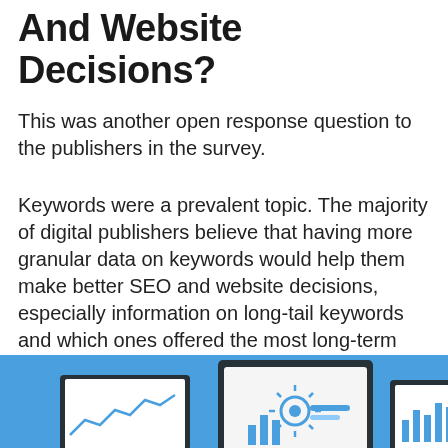And Website Decisions?
This was another open response question to the publishers in the survey.
Keywords were a prevalent topic. The majority of digital publishers believe that having more granular data on keywords would help them make better SEO and website decisions, especially information on long-tail keywords and which ones offered the most long-term value to write content for.
[Figure (illustration): Blue background illustration showing three device screens: a laptop with a line chart, a tablet with a settings/keyword icon, and a smaller screen with a bar chart. Represents digital analytics and SEO concepts.]